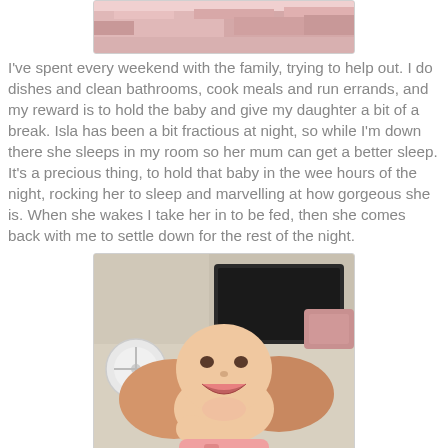[Figure (photo): Partial photo of pink fabric/blanket, cropped at top]
I've spent every weekend with the family, trying to help out.  I do dishes and clean bathrooms, cook meals and run errands, and my reward is to hold the baby and give my daughter a bit of a break.  Isla has been a bit fractious at night, so while I'm down there she sleeps in my room so her mum can get a better sleep.  It's a precious thing, to hold that baby in the wee hours of the night, rocking her to sleep and marvelling at how gorgeous she is. When she wakes I take her in to be fed, then she comes back with me to settle down for the rest of the night.
[Figure (photo): Photo of a smiling baby lying down, with a TV/monitor visible in the background and a fan to the left]